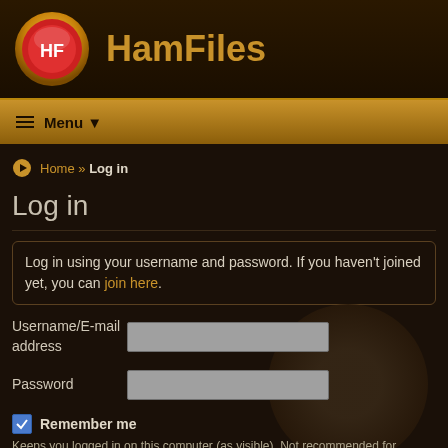[Figure (logo): HamFiles logo: circular badge with red and white HF letters, gold border, with site name HamFiles in gold text]
Menu ▼
Home » Log in
Log in
Log in using your username and password. If you haven't joined yet, you can join here.
Username/E-mail address
Password
Remember me
Keeps you logged in on this computer (as visible). Not recommended for shared computers.